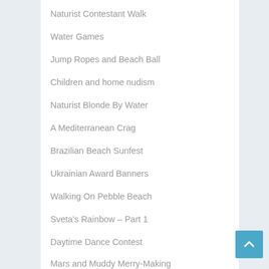Naturist Contestant Walk
Water Games
Jump Ropes and Beach Ball
Children and home nudism
Naturist Blonde By Water
A Mediterranean Crag
Brazilian Beach Sunfest
Ukrainian Award Banners
Walking On Pebble Beach
Sveta's Rainbow – Part 1
Daytime Dance Contest
Mars and Muddy Merry-Making